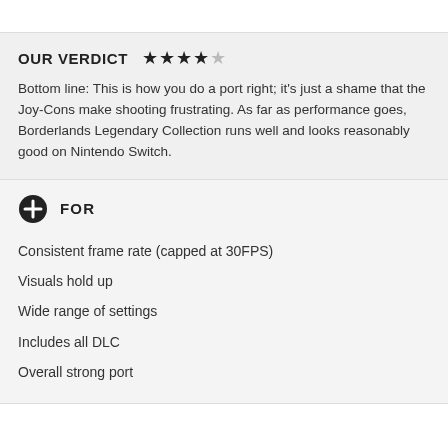OUR VERDICT ★★★★☆
Bottom line: This is how you do a port right; it's just a shame that the Joy-Cons make shooting frustrating. As far as performance goes, Borderlands Legendary Collection runs well and looks reasonably good on Nintendo Switch.
+ FOR
Consistent frame rate (capped at 30FPS)
Visuals hold up
Wide range of settings
Includes all DLC
Overall strong port